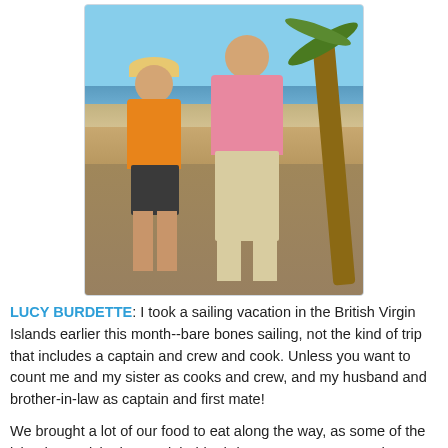[Figure (photo): A couple standing on a beach. A woman wearing an orange tank top, dark shorts, hat and sunglasses stands on the left, and a taller man in a pink polo shirt and khaki shorts stands on the right with his arm around her. There is a palm tree in the background and ocean/sandy shore visible.]
LUCY BURDETTE:  I took a sailing vacation in the British Virgin Islands earlier this month--bare bones sailing, not the kind of trip that includes a captain and crew and cook. Unless you want to count me and my sister as cooks and crew, and my husband and brother-in-law as captain and first mate!
We brought a lot of our food to eat along the way, as some of the islands we visited are uninhabited--i.e., no restaurants and no grocery stores either! Since I am no sailor and had